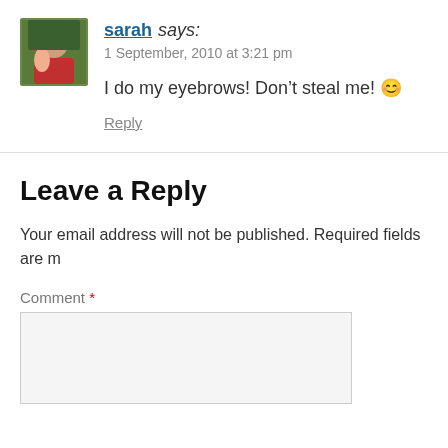sarah says: 1 September, 2010 at 3:21 pm
I do my eyebrows! Don't steal me! 🙂
Reply
Leave a Reply
Your email address will not be published. Required fields are m
Comment *